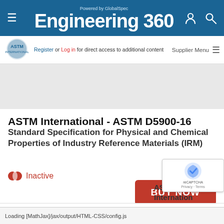Engineering 360 — Powered by GlobalSpec
Register or Log in for direct access to additional content
[Figure (logo): ASTM International logo]
ASTM International - ASTM D5900-16
Standard Specification for Physical and Chemical Properties of Industry Reference Materials (IRM)
Inactive
BUY NOW
Details   History   Related Products
ASTM Internation
Loading [MathJax]/jax/output/HTML-CSS/config.js